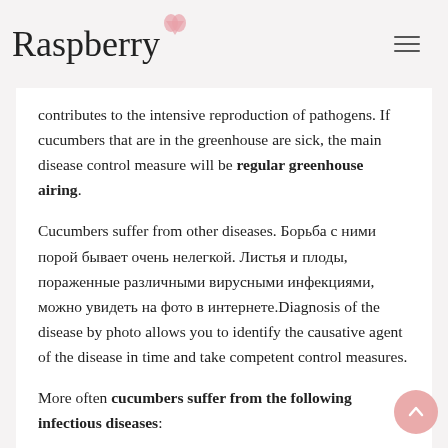Raspberry
contributes to the intensive reproduction of pathogens. If cucumbers that are in the greenhouse are sick, the main disease control measure will be regular greenhouse airing.
Cucumbers suffer from other diseases. Борьба с ними порой бывает очень нелегкой. Листья и плоды, пораженные различными вирусными инфекциями, можно увидеть на фото в интернете.Diagnosis of the disease by photo allows you to identify the causative agent of the disease in time and take competent control measures.
More often cucumbers suffer from the following infectious diseases: